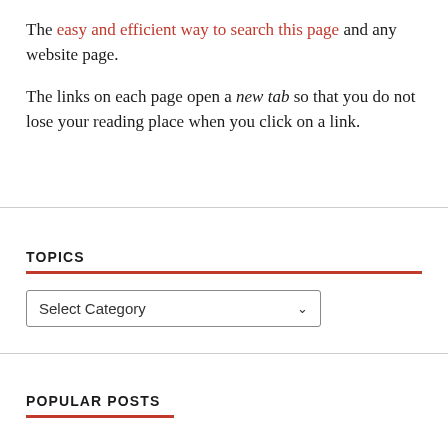The easy and efficient way to search this page and any website page.
The links on each page open a new tab so that you do not lose your reading place when you click on a link.
TOPICS
Select Category
POPULAR POSTS